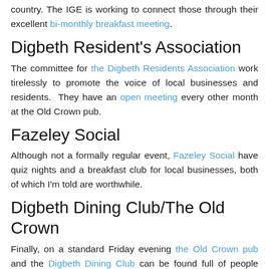country. The IGE is working to connect those through their excellent bi-monthly breakfast meeting.
Digbeth Resident's Association
The committee for the Digbeth Residents Association work tirelessly to promote the voice of local businesses and residents. They have an open meeting every other month at the Old Crown pub.
Fazeley Social
Although not a formally regular event, Fazeley Social have quiz nights and a breakfast club for local businesses, both of which I'm told are worthwhile.
Digbeth Dining Club/The Old Crown
Finally, on a standard Friday evening the Old Crown pub and the Digbeth Dining Club can be found full of people from the local area signing off the week with